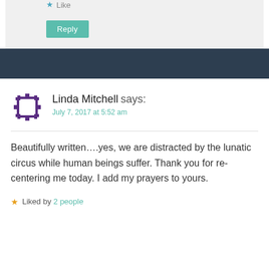Like
Reply
Linda Mitchell says:
July 7, 2017 at 5:52 am
Beautifully written....yes, we are distracted by the lunatic circus while human beings suffer. Thank you for re-centering me today. I add my prayers to yours.
Liked by 2 people